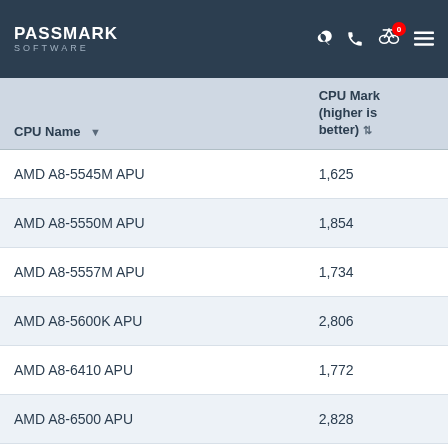PassMark Software
| CPU Name | CPU Mark (higher is better) |
| --- | --- |
| AMD A8-5545M APU | 1,625 |
| AMD A8-5550M APU | 1,854 |
| AMD A8-5557M APU | 1,734 |
| AMD A8-5600K APU | 2,806 |
| AMD A8-6410 APU | 1,772 |
| AMD A8-6500 APU | 2,828 |
| AMD A8-6500B APU | 2,892 |